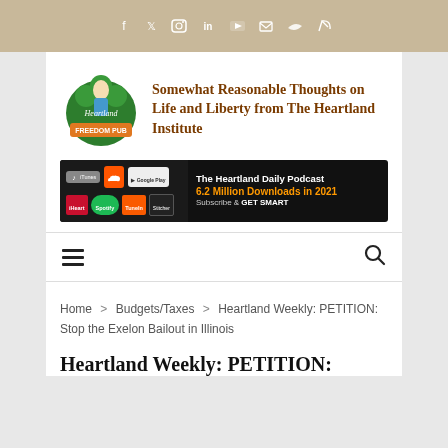f  t  instagram  in  youtube  email  soundcloud  rss
[Figure (logo): Heartland Freedom Pub logo with woman figure and green shamrock design]
Somewhat Reasonable Thoughts on Life and Liberty from The Heartland Institute
[Figure (screenshot): The Heartland Daily Podcast banner — 6.2 Million Downloads in 2021 — Subscribe & GET SMART — with iTunes, SoundCloud, Google Play, iHeart, Spotify, TuneIn, Stitcher badges]
Navigation menu and search
Home > Budgets/Taxes > Heartland Weekly: PETITION: Stop the Exelon Bailout in Illinois
Heartland Weekly: PETITION: Stop the Exelon Bailout in Illinois